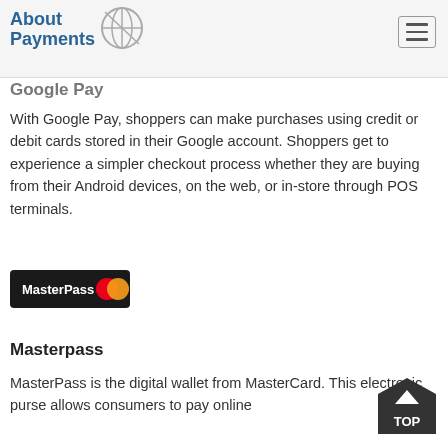About Payments
Google Pay
With Google Pay, shoppers can make purchases using credit or debit cards stored in their Google account. Shoppers get to experience a simpler checkout process whether they are buying from their Android devices, on the web, or in-store through POS terminals.
[Figure (logo): MasterPass logo — dark rectangle with 'MasterPass' text and Mastercard overlapping circles icon]
Masterpass
MasterPass is the digital wallet from MasterCard. This electronic purse allows consumers to pay online